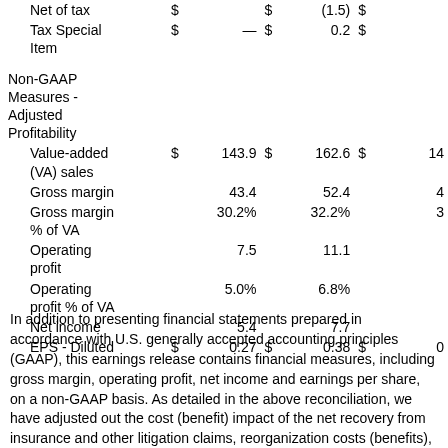|  | $ |  | $ |  | $ |  |
| --- | --- | --- | --- | --- | --- | --- |
| Net of tax | $ |  | $ | (1.5) | $ |  |
| Tax Special Item | $ | — | $ | 0.2 | $ |  |
| Non-GAAP Measures - Adjusted Profitability |  |  |  |  |  |  |
| Value-added (VA) sales | $ | 143.9 | $ | 162.6 | $ | 14 |
| Gross margin |  | 43.4 |  | 52.4 |  | 4 |
| Gross margin % of VA |  | 30.2% |  | 32.2% |  | 3 |
| Operating profit |  | 7.5 |  | 11.1 |  |  |
| Operating profit % of VA |  | 5.0% |  | 6.8% |  |  |
| Net income |  | 5.4 |  | 7.7 |  |  |
| EPS - Diluted | $ | 0.27 | $ | 0.38 | $ | 0 |
In addition to presenting financial statements prepared in accordance with U.S. generally accepted accounting principles (GAAP), this earnings release contains financial measures, including gross margin, operating profit, net income and earnings per share, on a non-GAAP basis. As detailed in the above reconciliation, we have adjusted out the cost (benefit) impact of the net recovery from insurance and other litigation claims, reorganization costs (benefits),